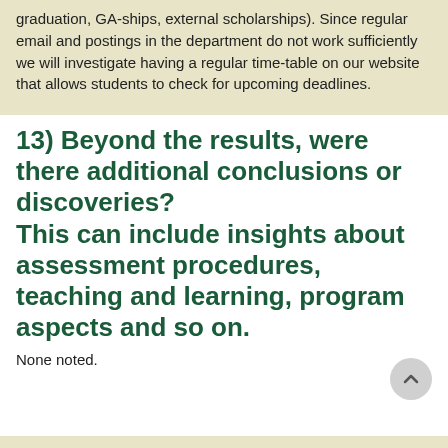graduation, GA-ships, external scholarships). Since regular email and postings in the department do not work sufficiently we will investigate having a regular time-table on our website that allows students to check for upcoming deadlines.
13) Beyond the results, were there additional conclusions or discoveries? This can include insights about assessment procedures, teaching and learning, program aspects and so on.
None noted.